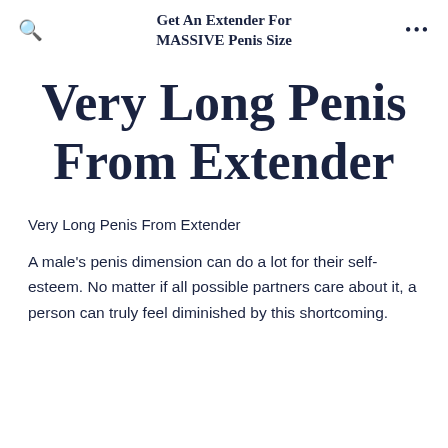Get An Extender For MASSIVE Penis Size
Very Long Penis From Extender
Very Long Penis From Extender
A male's penis dimension can do a lot for their self-esteem. No matter if all possible partners care about it, a person can truly feel diminished by this shortcoming.